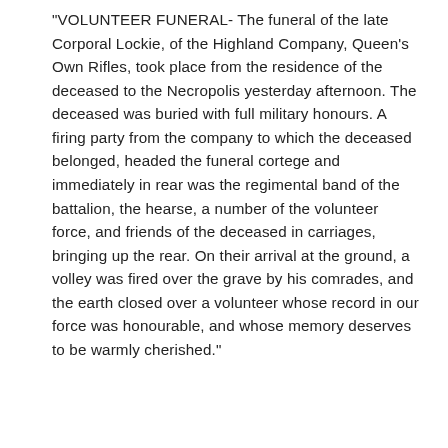"VOLUNTEER FUNERAL- The funeral of the late Corporal Lockie, of the Highland Company, Queen's Own Rifles, took place from the residence of the deceased to the Necropolis yesterday afternoon. The deceased was buried with full military honours. A firing party from the company to which the deceased belonged, headed the funeral cortege and immediately in rear was the regimental band of the battalion, the hearse, a number of the volunteer force, and friends of the deceased in carriages, bringing up the rear. On their arrival at the ground, a volley was fired over the grave by his comrades, and the earth closed over a volunteer whose record in our force was honourable, and whose memory deserves to be warmly cherished."